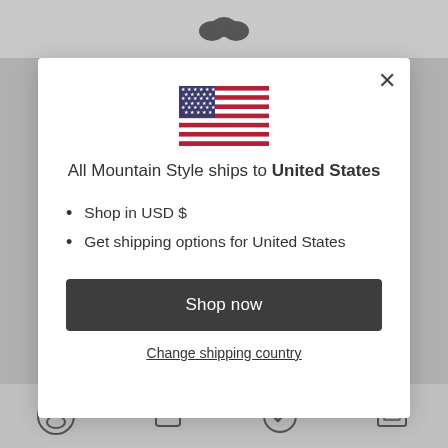[Figure (screenshot): Modal popup dialog on a website showing a US flag, shipping destination text, bullet points about USD currency and shipping options, a dark 'Shop now' button, and a 'Change shipping country' link.]
All Mountain Style ships to United States
Shop in USD $
Get shipping options for United States
Shop now
Change shipping country